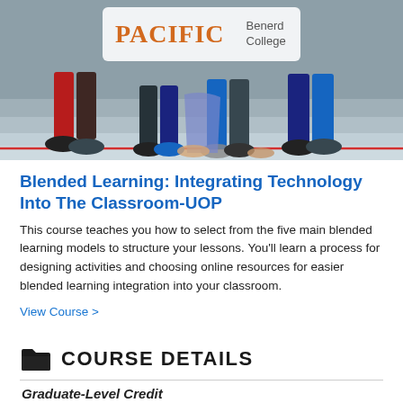[Figure (photo): Photo of students sitting on steps with a Pacific Benerd College logo overlay in the upper center]
Blended Learning: Integrating Technology Into The Classroom-UOP
This course teaches you how to select from the five main blended learning models to structure your lessons. You'll learn a process for designing activities and choosing online resources for easier blended learning integration into your classroom.
View Course >
COURSE DETAILS
Graduate-Level Credit